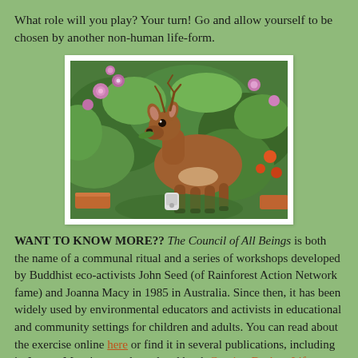What role will you play? Your turn! Go and allow yourself to be chosen by another non-human life-form.
[Figure (photo): A deer standing in a lush garden with green plants, pink flowers, and terracotta pots, looking directly at the camera.]
WANT TO KNOW MORE?? The Council of All Beings is both the name of a communal ritual and a series of workshops developed by Buddhist eco-activists John Seed (of Rainforest Action Network fame) and Joanna Macy in 1985 in Australia. Since then, it has been widely used by environmental educators and activists in educational and community settings for children and adults. You can read about the exercise online here or find it in several publications, including in Joanna Macy's recently updated book Coming Back to Life: Practices to Reconnect Our Lives, Our